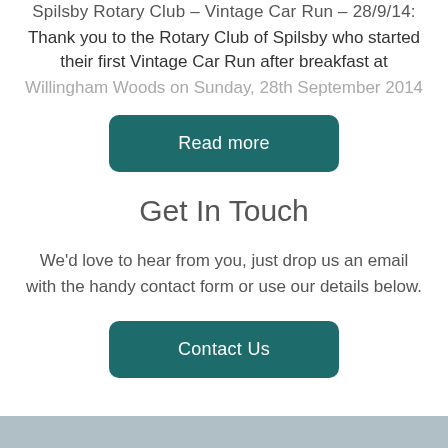Spilsby Rotary Club – Vintage Car Run – 28/9/14:
Thank you to the Rotary Club of Spilsby who started their first Vintage Car Run after breakfast at
Willingham Woods on Sunday, 28th September 2014
[Figure (other): Read more button (teal rounded rectangle)]
Get In Touch
We'd love to hear from you, just drop us an email with the handy contact form or use our details below.
[Figure (other): Contact Us button (teal rounded rectangle)]